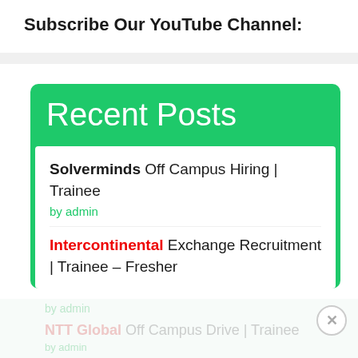Subscribe Our YouTube Channel:
Recent Posts
Solverminds Off Campus Hiring | Trainee
by admin
Intercontinental Exchange Recruitment | Trainee – Fresher
by admin
NTT Global Off Campus Drive | Trainee
by admin